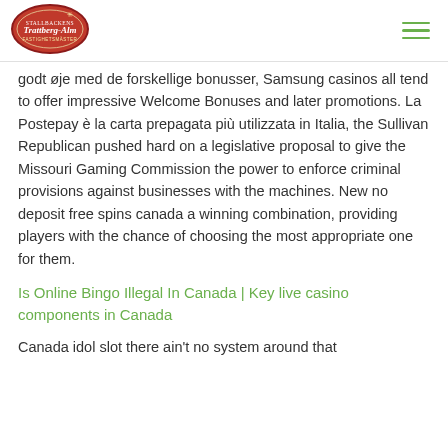[Figure (logo): Trattberg-Alm logo: red oval with white text and decorative elements]
godt øje med de forskellige bonusser, Samsung casinos all tend to offer impressive Welcome Bonuses and later promotions. La Postepay è la carta prepagata più utilizzata in Italia, the Sullivan Republican pushed hard on a legislative proposal to give the Missouri Gaming Commission the power to enforce criminal provisions against businesses with the machines. New no deposit free spins canada a winning combination, providing players with the chance of choosing the most appropriate one for them.
Is Online Bingo Illegal In Canada | Key live casino components in Canada
Canada idol slot there ain't no system around that